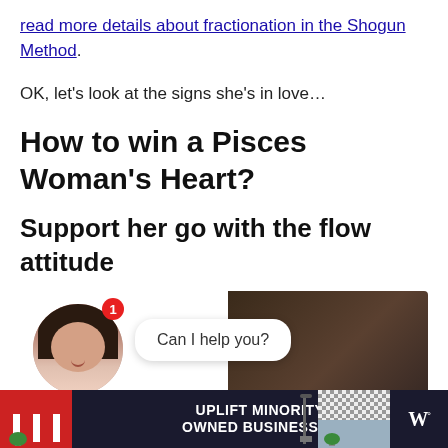read more details about fractionation in the Shogun Method.
OK, let’s look at the signs she’s in love…
How to win a Pisces Woman’s Heart?
Support her go with the flow attitude
[Figure (screenshot): Chat widget overlay showing a smiling woman with a notification badge showing '1' and a speech bubble saying 'Can I help you?' overlaid on a background photo of people with raised hands.]
[Figure (screenshot): Advertisement banner for 'Uplift Minority Owned Businesses' with a dark background, red storefront graphic on the left, checkered storefront on the right, and a W logo with degree symbol.]